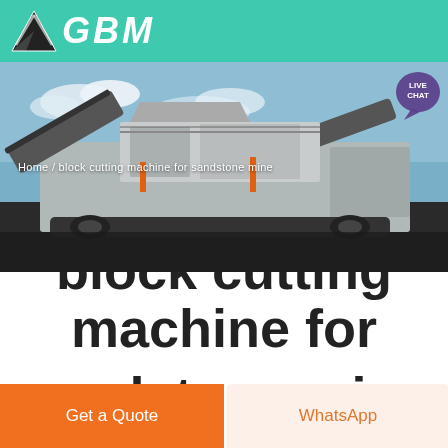GBM
[Figure (photo): Large industrial mobile crushing/screening machine on a mining site with blue sky background. Breadcrumb navigation reads: Home / block cutting machine for sandstone mine]
block cutting machine for sandstone mine
Get a Quote
WhatsApp